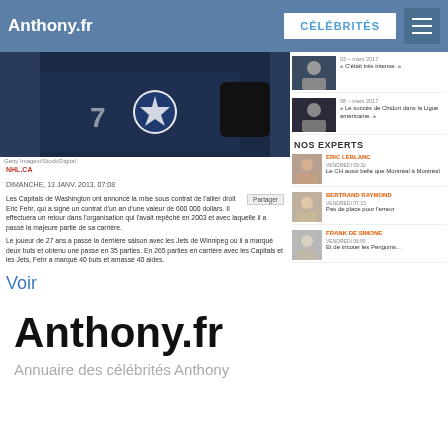Anthony.fr | CÉLÉBRITÉS
[Figure (photo): Hockey player in dark uniform with Winnipeg Jets logo, holding a stick]
Getty Images/iStock/Digital
NHL.CA
DIMANCHE, 13 JANV. 2013, 07:08
Les Capitals de Washington ont annoncé la mise sous contrat de l'ailier droit Eric Fehr, qui a signé un contrat d'un an d'une valeur de 600 000 dollars. Il effectuera un retour dans l'organisation qui l'avait repêché en 2003 et avec laquelle il a passé la majeure partie de sa carrière.
Le joueur de 27 ans a passé la dernière saison avec les Jets de Winnipeg où il a marqué deux buts et obtenu une passe en 35 parties. En 265 parties en carrière avec les Capitals et les Jets, Fehr a marqué 40 buts et amassé 40 aides.
Voir
« C'était très intense. »
« Le succès de Chidori dans le la Ligue américaine. »
NOS EXPERTS
ERIC LEBLANC
Le CH aussi belle que Montreal à Montréal
BERTRAND RAYMOND
Pas de place pour l'erreur
FRANK DE SIMONE
Et de tricoter les Penguins...
Anthony.fr
Annuaire des célébrités Anthony